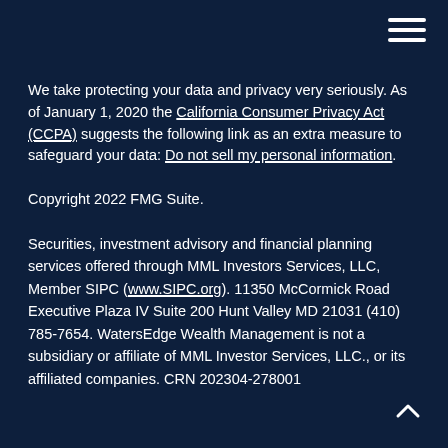hamburger menu icon
We take protecting your data and privacy very seriously. As of January 1, 2020 the California Consumer Privacy Act (CCPA) suggests the following link as an extra measure to safeguard your data: Do not sell my personal information.
Copyright 2022 FMG Suite.
Securities, investment advisory and financial planning services offered through MML Investors Services, LLC, Member SIPC (www.SIPC.org). 11350 McCormick Road Executive Plaza IV Suite 200 Hunt Valley MD 21031 (410) 785-7654. WatersEdge Wealth Management is not a subsidiary or affiliate of MML Investor Services, LLC., or its affiliated companies. CRN 202304-278001